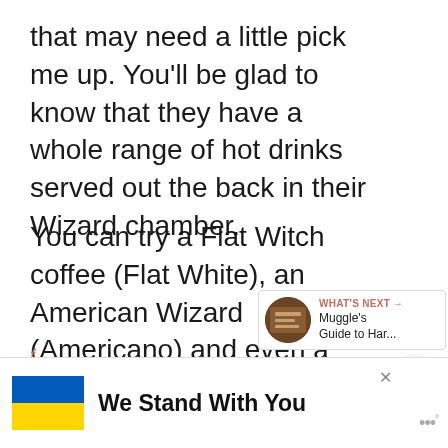that may need a little pick me up. You'll be glad to know that they have a whole range of hot drinks served out the back in their Wizard chamber.
You can try a Flat Witch coffee (Flat White), an American Wizard (Americano) and even a Witches Brew (tea).
[Figure (screenshot): Social media sharing icons: f (Facebook), y (Twitter/bird), p (Pinterest), in (LinkedIn) on the left side; heart/like button with count 109 and share button on the right side]
[Figure (infographic): What's Next panel showing a thumbnail image and text 'Muggle's Guide to Har...' with salmon/orange header 'WHAT'S NEXT →']
[Figure (infographic): Advertisement banner with Ukraine flag colors (blue and yellow) and text 'We Stand With You' with a close button and logo]